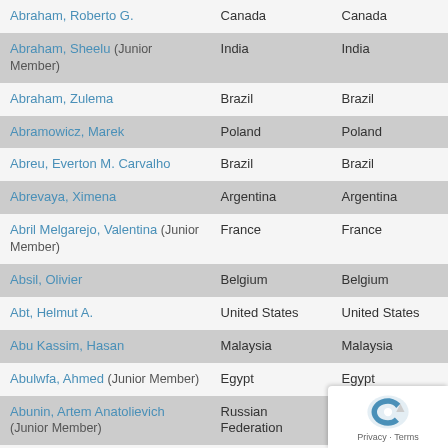| Name | Country | Country |
| --- | --- | --- |
| Abraham, Roberto G. | Canada | Canada |
| Abraham, Sheelu (Junior Member) | India | India |
| Abraham, Zulema | Brazil | Brazil |
| Abramowicz, Marek | Poland | Poland |
| Abreu, Everton M. Carvalho | Brazil | Brazil |
| Abrevaya, Ximena | Argentina | Argentina |
| Abril Melgarejo, Valentina (Junior Member) | France | France |
| Absil, Olivier | Belgium | Belgium |
| Abt, Helmut A. | United States | United States |
| Abu Kassim, Hasan | Malaysia | Malaysia |
| Abulwfa, Ahmed (Junior Member) | Egypt | Egypt |
| Abunin, Artem Anatolievich (Junior Member) | Russian Federation | Russian Federation |
| Abushattal, Ahmad Ali | Jordan | Jordan |
| Accomazzi, Alberto | United States | United States |
| Acebron, Ana (Junior Member) | Italy | Italy |